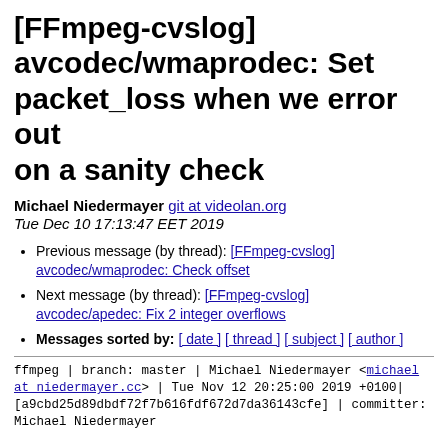[FFmpeg-cvslog] avcodec/wmaprodec: Set packet_loss when we error out on a sanity check
Michael Niedermayer git at videolan.org
Tue Dec 10 17:13:47 EET 2019
Previous message (by thread): [FFmpeg-cvslog] avcodec/wmaprodec: Check offset
Next message (by thread): [FFmpeg-cvslog] avcodec/apedec: Fix 2 integer overflows
Messages sorted by: [ date ] [ thread ] [ subject ] [ author ]
ffmpeg | branch: master | Michael Niedermayer <michael at niedermayer.cc> | Tue Nov 12 20:25:00 2019 +0100| [a9cbd25d89dbdf72f7b616fdf672d7da36143cfe] | committer: Michael Niedermayer
avcodec/wmaprodec: Set packet_loss when we error out on a sanity check